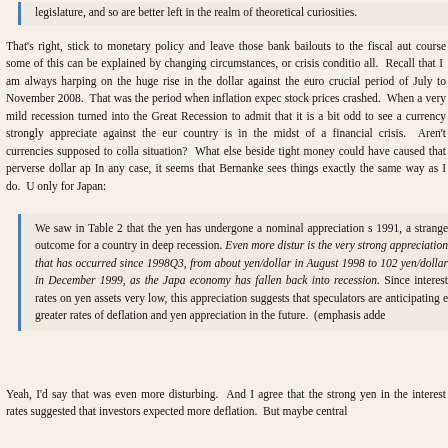legislature, and so are better left in the realm of theoretical curiosities.
That's right, stick to monetary policy and leave those bank bailouts to the fiscal aut course some of this can be explained by changing circumstances, or crisis conditio all. Recall that I am always harping on the huge rise in the dollar against the euro crucial period of July to November 2008. That was the period when inflation expec stock prices crashed. When a very mild recession turned into the Great Recession to admit that it is a bit odd to see a currency strongly appreciate against the eur country is in the midst of a financial crisis. Aren't currencies supposed to colla situation? What else beside tight money could have caused that perverse dollar ap In any case, it seems that Bernanke sees things exactly the same way as I do. U only for Japan:
We saw in Table 2 that the yen has undergone a nominal appreciation s 1991, a strange outcome for a country in deep recession. Even more distur is the very strong appreciation that has occurred since 1998Q3, from about yen/dollar in August 1998 to 102 yen/dollar in December 1999, as the Japa economy has fallen back into recession. Since interest rates on yen assets very low, this appreciation suggests that speculators are anticipating e greater rates of deflation and yen appreciation in the future. (emphasis adde
Yeah, I'd say that was even more disturbing. And I agree that the strong yen in the interest rates suggested that investors expected more deflation. But maybe central